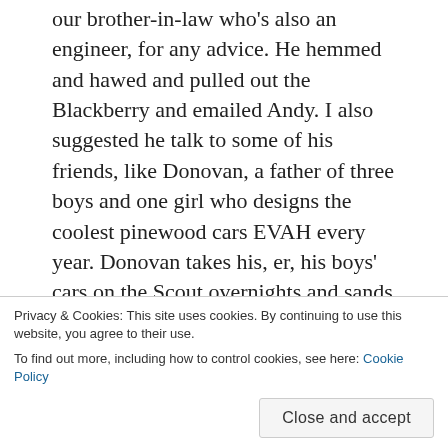our brother-in-law who's also an engineer, for any advice. He hemmed and hawed and pulled out the Blackberry and emailed Andy. I also suggested he talk to some of his friends, like Donovan, a father of three boys and one girl who designs the coolest pinewood cars EVAH every year. Donovan takes his, er, his boys' cars on the Scout overnights and sands wheels and what have you.
Um, no. He didn't talk with Donovan, except at the pinewood workshop, where Donovan suggested that Tom might want to put a cockpit on his car because it would be cool.
Privacy & Cookies: This site uses cookies. By continuing to use this website, you agree to their use.
To find out more, including how to control cookies, see here: Cookie Policy
Close and accept
That was about it.